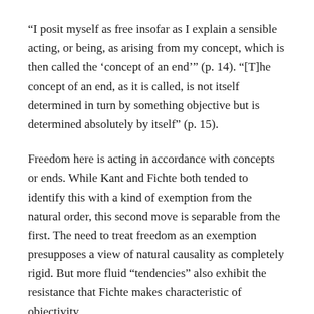“I posit myself as free insofar as I explain a sensible acting, or being, as arising from my concept, which is then called the ‘concept of an end’” (p. 14). “[T]he concept of an end, as it is called, is not itself determined in turn by something objective but is determined absolutely by itself” (p. 15).
Freedom here is acting in accordance with concepts or ends. While Kant and Fichte both tended to identify this with a kind of exemption from the natural order, this second move is separable from the first. The need to treat freedom as an exemption presupposes a view of natural causality as completely rigid. But more fluid “tendencies” also exhibit the resistance that Fichte makes characteristic of objectivity.